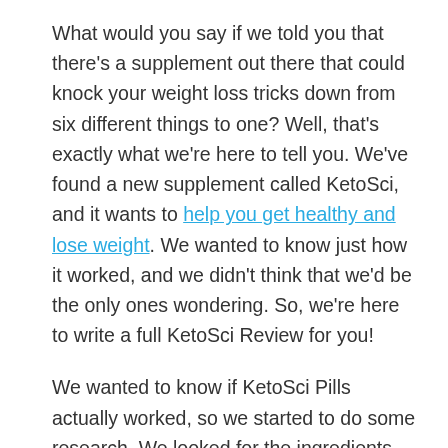What would you say if we told you that there's a supplement out there that could knock your weight loss tricks down from six different things to one? Well, that's exactly what we're here to tell you. We've found a new supplement called KetoSci, and it wants to help you get healthy and lose weight. We wanted to know just how it worked, and we didn't think that we'd be the only ones wondering. So, we're here to write a full KetoSci Review for you!
We wanted to know if KetoSci Pills actually worked, so we started to do some research. We looked for the ingredients, the side effects, and more. We even did some research on the KetoSci Price! So, you'll get to learn all of this today. But, most importantly,